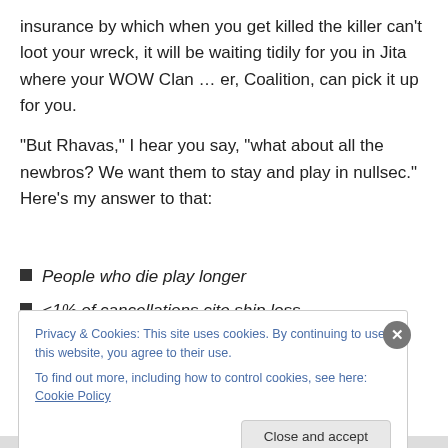insurance by which when you get killed the killer can't loot your wreck, it will be waiting tidily for you in Jita where your WOW Clan … er, Coalition, can pick it up for you.
“But Rhavas,” I hear you say, “what about all the newbros? We want them to stay and play in nullsec.” Here’s my answer to that:
People who die play longer
<1% of cancellations cite ship loss
Privacy & Cookies: This site uses cookies. By continuing to use this website, you agree to their use.
To find out more, including how to control cookies, see here: Cookie Policy
Close and accept